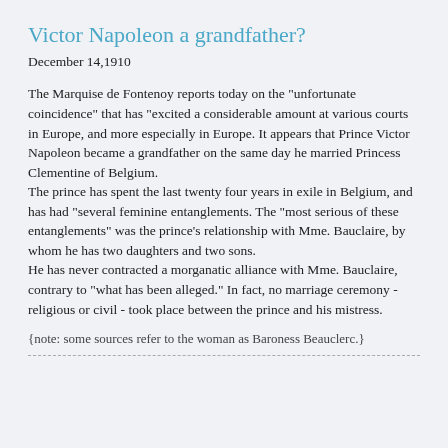Victor Napoleon a grandfather?
December 14,1910
The Marquise de Fontenoy reports today on the "unfortunate coincidence" that has "excited a considerable amount at various courts in Europe, and more especially in Europe. It appears that Prince Victor Napoleon became a grandfather on the same day he married Princess Clementine of Belgium.
The prince has spent the last twenty four years in exile in Belgium, and has had "several feminine entanglements. The "most serious of these entanglements" was the prince's relationship with Mme. Bauclaire, by whom he has two daughters and two sons.
He has never contracted a morganatic alliance with Mme. Bauclaire, contrary to "what has been alleged." In fact, no marriage ceremony - religious or civil - took place between the prince and his mistress.
{note: some sources refer to the woman as Baroness Beauclerc.}